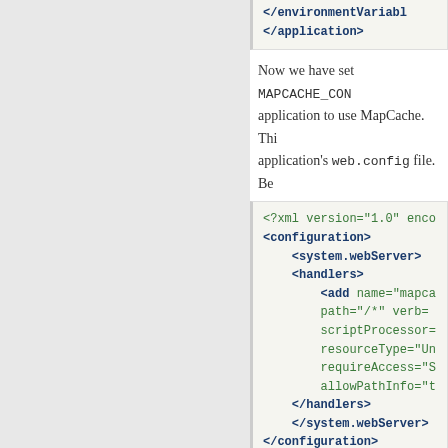code block top: </environmentVariabl... </application>
Now we have set MAPCACHE_CO... application to use MapCache. Thi... application's web.config file. Be...
code block: <?xml version="1.0" enco... <configuration> <system.webServer> <handlers> <add name="mapca... path="/*" verb=... scriptProcessor=... resourceType="Un... requireAccess="S... allowPathInfo="t... </handlers> </system.webServer> </configuration>
Key points to note are:
allowPathInfo must be... the same way as other we... SCRIPT_NAME in PATH_IN...